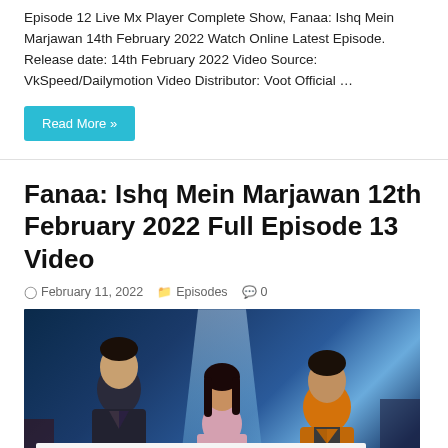Episode 12 Live Mx Player Complete Show, Fanaa: Ishq Mein Marjawan 14th February 2022 Watch Online Latest Episode. Release date: 14th February 2022 Video Source: VkSpeed/Dailymotion Video Distributor: Voot Official …
Read More »
Fanaa: Ishq Mein Marjawan 12th February 2022 Full Episode 13 Video
February 11, 2022   Episodes   0
[Figure (photo): Three people standing in a dramatic TV show promotional photo with blue-toned lighting and a light beam in the background. Left: a man in dark suit, Center: a woman in light dress, Right: a man in orange jacket. A white ad banner overlays the bottom portion and a cyan back-to-top arrow button is visible in the lower right.]